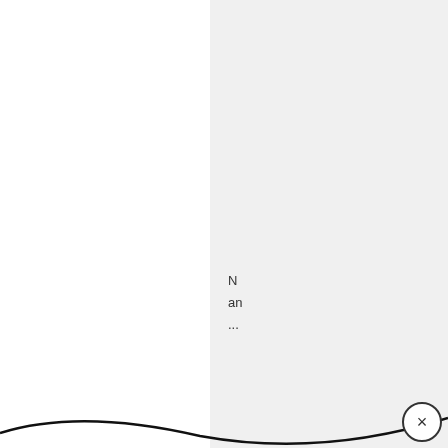[Figure (screenshot): Screenshot of a webpage with an advertising dropdown overlay and a dental implants advertisement banner. The left portion shows a white panel. The right portion shows a light gray UI panel with truncated text lines (N, an, ..., di, yo, do, b, yo, w, e). An 'Advertising' dropdown is expanded with a minus button. Below it is a white input area. An ad banner overlays the bottom portion showing a dental shade guide image and text 'Here is What Full Mouth Dental Implants Should Cost You in 2022' from 'Dental Implants | Search Ads | Sponsored'. A close X appears top right of the ad, and a circled X appears bottom right of the page. A curved black line runs along the bottom.]